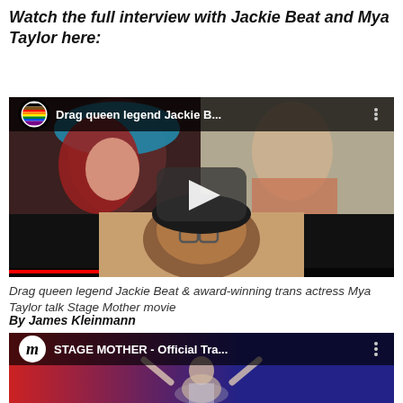Watch the full interview with Jackie Beat and Mya Taylor here:
[Figure (screenshot): YouTube video thumbnail showing a split screen with a drag queen in a teal hat and a person in a floral shirt, plus a Black woman with glasses below. Title bar reads 'Drag queen legend Jackie B...' with progress bar at bottom and play button overlay.]
Drag queen legend Jackie Beat & award-winning trans actress Mya Taylor talk Stage Mother movie
By James Kleinmann
[Figure (screenshot): YouTube video thumbnail showing a person with arms raised against a red/blue background. Channel logo shows 'm' in white circle. Title bar reads 'STAGE MOTHER - Official Tra...']